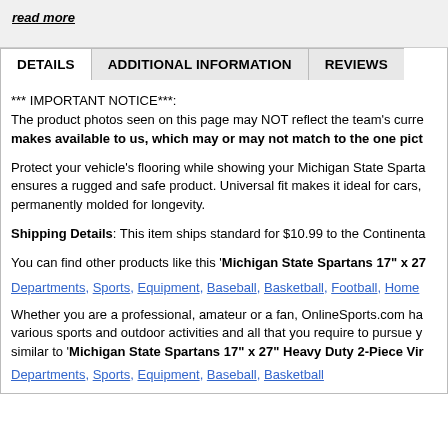read more
DETAILS | ADDITIONAL INFORMATION | REVIEWS
*** IMPORTANT NOTICE***: The product photos seen on this page may NOT reflect the team's current makes available to us, which may or may not match to the one pict
Protect your vehicle's flooring while showing your Michigan State Sparta ensures a rugged and safe product. Universal fit makes it ideal for cars, permanently molded for longevity.
Shipping Details: This item ships standard for $10.99 to the Continenta
You can find other products like this 'Michigan State Spartans 17" x 27
Departments, Sports, Equipment, Baseball, Basketball, Football, Home
Whether you are a professional, amateur or a fan, OnlineSports.com ha various sports and outdoor activities and all that you require to pursue y similar to 'Michigan State Spartans 17" x 27" Heavy Duty 2-Piece Vir
Departments, Sports, Equipment, Baseball, Basketball